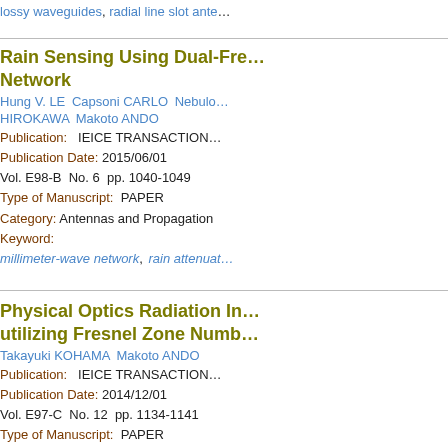lossy waveguides, radial line slot ante…
Rain Sensing Using Dual-Fre… Network
Hung V. LE  Capsoni CARLO  Nebulo…  HIROKAWA  Makoto ANDO
Publication:   IEICE TRANSACTION…
Publication Date:  2015/06/01
Vol. E98-B  No. 6  pp. 1040-1049
Type of Manuscript:  PAPER
Category:  Antennas and Propagation
Keyword:
millimeter-wave network,  rain attenuat…
Physical Optics Radiation In… utilizing Fresnel Zone Numb…
Takayuki KOHAMA  Makoto ANDO
Publication:   IEICE TRANSACTION…
Publication Date:  2014/12/01
Vol. E97-C  No. 12  pp. 1134-1141
Type of Manuscript:  PAPER